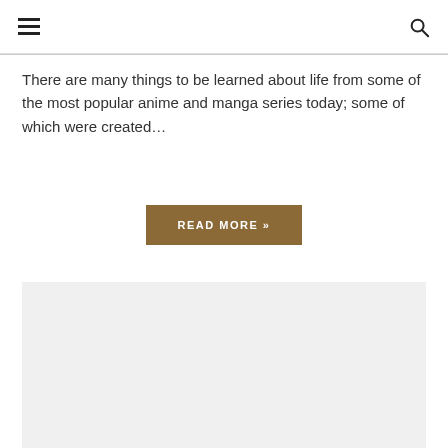There are many things to be learned about life from some of the most popular anime and manga series today; some of which were created...
READ MORE »
[Figure (other): Light gray image placeholder rectangle at the bottom of the page]